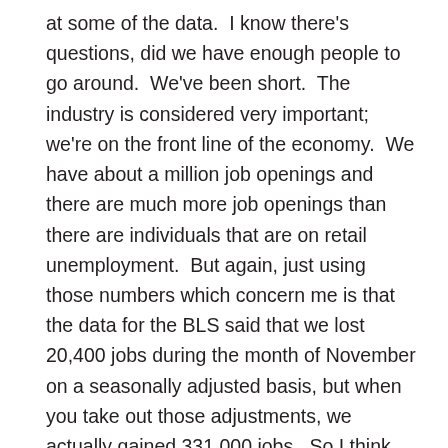at some of the data.  I know there's questions, did we have enough people to go around.  We've been short.  The industry is considered very important; we're on the front line of the economy.  We have about a million job openings and there are much more job openings than there are individuals that are on retail unemployment.  But again, just using those numbers which concern me is that the data for the BLS said that we lost 20,400 jobs during the month of November on a seasonally adjusted basis, but when you take out those adjustments, we actually gained 331,000 jobs.  So I think we have to consider what the underpinnings of what spending might be outside of maybe some of the concerns that the BLS uses for seasonally adjusting the data.